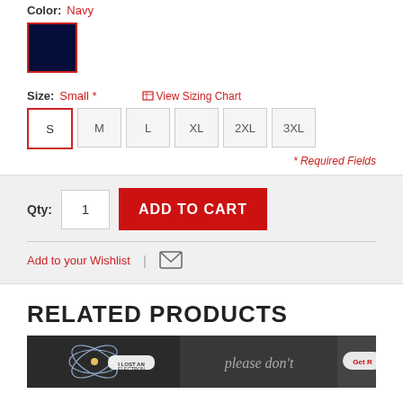Color: Navy
[Figure (illustration): Navy blue color swatch square with red border indicating selected color]
Size: Small * View Sizing Chart
S M L XL 2XL 3XL — size selection buttons, S selected
* Required Fields
Qty: 1  ADD TO CART
Add to your Wishlist
RELATED PRODUCTS
[Figure (photo): Three related product thumbnail images on dark backgrounds]
please don't